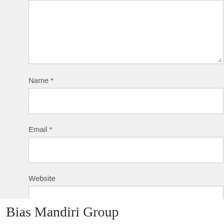[Figure (screenshot): Textarea input box (comment field) partially visible at top of page, white background with gray border and resize handle at bottom-right.]
Name *
[Figure (screenshot): Text input box for Name field, white background with gray border.]
Email *
[Figure (screenshot): Text input box for Email field, white background with gray border.]
Website
[Figure (screenshot): Text input box for Website field, white background with gray border.]
[Figure (screenshot): Red 'Post Comment' button and a dark gray scroll-to-top icon button at the bottom right.]
Bias Mandiri Group